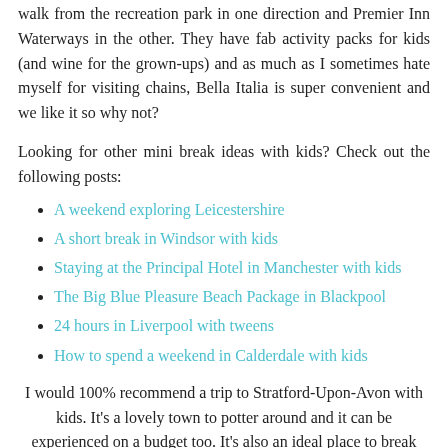...is right in the town centre and just a short 10 minute walk from the recreation park in one direction and Premier Inn Waterways in the other. They have fab activity packs for kids (and wine for the grown-ups) and as much as I sometimes hate myself for visiting chains, Bella Italia is super convenient and we like it so why not?
Looking for other mini break ideas with kids? Check out the following posts:
A weekend exploring Leicestershire
A short break in Windsor with kids
Staying at the Principal Hotel in Manchester with kids
The Big Blue Pleasure Beach Package in Blackpool
24 hours in Liverpool with tweens
How to spend a weekend in Calderdale with kids
I would 100% recommend a trip to Stratford-Upon-Avon with kids. It's a lovely town to potter around and it can be experienced on a budget too. It's also an ideal place to break